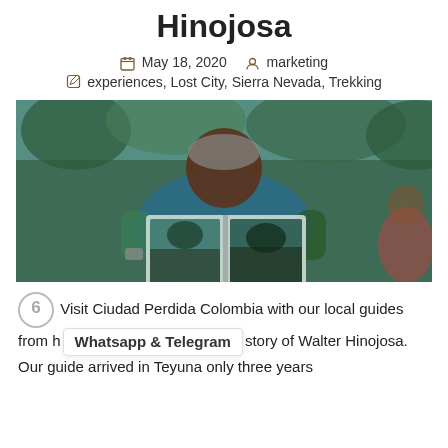Hinojosa
May 18, 2020   marketing
experiences, Lost City, Sierra Nevada, Trekking
[Figure (photo): An elderly man holding open a book or album showing photographs of a jungle/forest landscape, wearing a blue shirt, outdoors with green foliage in background.]
Visit Ciudad Perdida Colombia with our local guides from h[Whatsapp & Telegram]story of Walter Hinojosa. Our guide arrived in Teyuna only three years after its discovery as a Lost City, and he is now considered